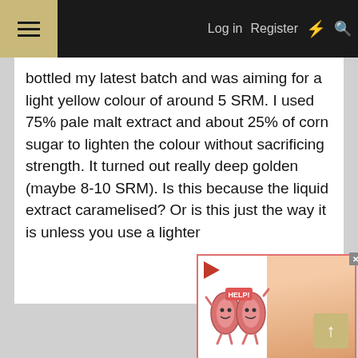Log in  Register
bottled my latest batch and was aiming for a light yellow colour of around 5 SRM. I used 75% pale malt extract and about 25% of corn sugar to lighten the colour without sacrificing strength. It turned out really deep golden (maybe 8-10 SRM). Is this because the liquid extract caramelised? Or is this just the way it is unless you use a lighter
[Figure (other): Advertisement popup showing cartoon kidneys with a 'HELP!' sign and a person with back pain, with the text 'Kidney Stones symptoms' in gold italic font. Has a red play button triangle in the upper left and a pink/red border.]